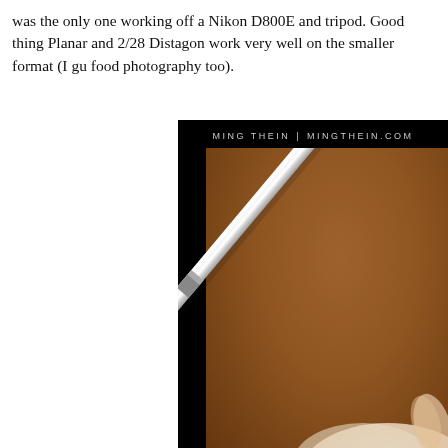was the only one working off a Nikon D800E and tripod. Good thing Planar and 2/28 Distagon work very well on the smaller format (I gu food photography too).
[Figure (photo): Close-up food photography image with watermark 'MING THEIN | MINGTHEIN.COM'. Shows a metallic utensil (knife or skewer) diagonally against a warm brown/amber background with soft-focus food elements visible at bottom right.]